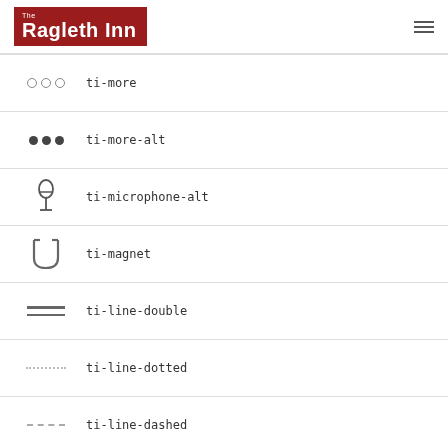The Ragleth Inn
ti-more
ti-more-alt
ti-microphone-alt
ti-magnet
ti-line-double
ti-line-dotted
ti-line-dashed